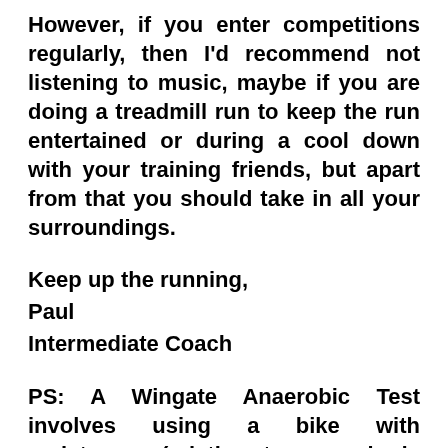However, if you enter competitions regularly, then I'd recommend not listening to music, maybe if you are doing a treadmill run to keep the run entertained or during a cool down with your training friends, but apart from that you should take in all your surroundings.
Keep up the running,
Paul
Intermediate Coach
PS: A Wingate Anaerobic Test involves using a bike with resistance, (relative to your body weight and asking